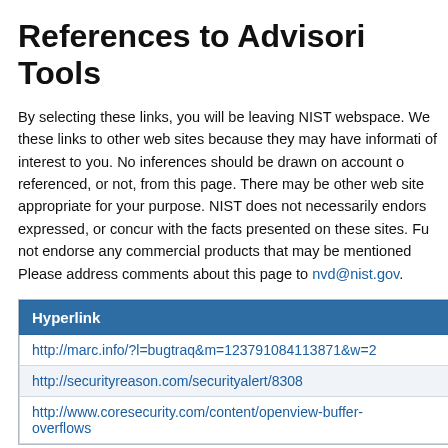References to Advisories, Solutions, Tools
By selecting these links, you will be leaving NIST webspace. We have provided these links to other web sites because they may have information of interest to you. No inferences should be drawn on account of other sites being referenced, or not, from this page. There may be other web sites more appropriate for your purpose. NIST does not necessarily endorse the views expressed, or concur with the facts presented on these sites. Further, NIST does not endorse any commercial products that may be mentioned on these sites. Please address comments about this page to nvd@nist.gov.
| Hyperlink |
| --- |
| http://marc.info/?l=bugtraq&m=123791084113871&w=2 |
| http://securityreason.com/securityalert/8308 |
| http://www.coresecurity.com/content/openview-buffer-overflows |